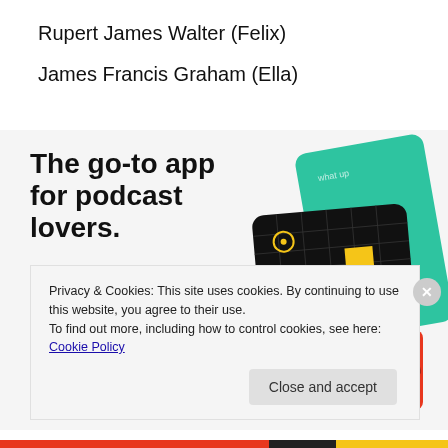Rupert James Walter (Felix)
James Francis Graham (Ella)
[Figure (infographic): Podcast app advertisement banner showing bold headline 'The go-to app for podcast lovers.' with red 'Download now' CTA and podcast app UI cards on the right including a 99% Invisible card.]
Privacy & Cookies: This site uses cookies. By continuing to use this website, you agree to their use.
To find out more, including how to control cookies, see here: Cookie Policy